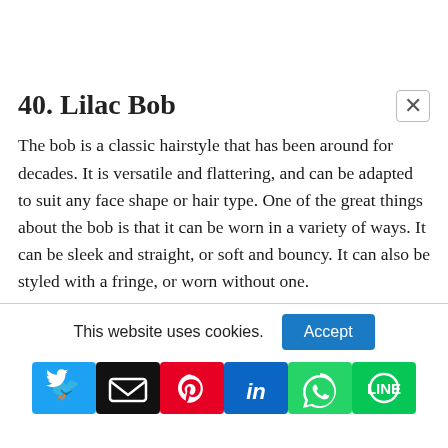40. Lilac Bob
The bob is a classic hairstyle that has been around for decades. It is versatile and flattering, and can be adapted to suit any face shape or hair type. One of the great things about the bob is that it can be worn in a variety of ways. It can be sleek and straight, or soft and bouncy. It can also be styled with a fringe, or worn without one.
This website uses cookies.
Accept